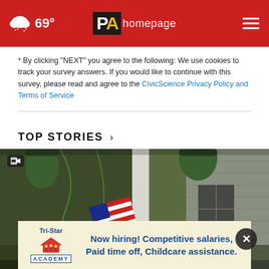69° PA homepage
* By clicking "NEXT" you agree to the following: We use cookies to track your survey answers. If you would like to continue with this survey, please read and agree to the CivicScience Privacy Policy and Terms of Service
TOP STORIES ›
[Figure (photo): Photograph of a house porch with an American flag displayed, plants hanging and climbing, and gray siding visible in the background.]
[Figure (infographic): Advertisement banner for Tri-Star Academy: 'Now hiring! Competitive salaries, Paid time off, Childcare assistance.']